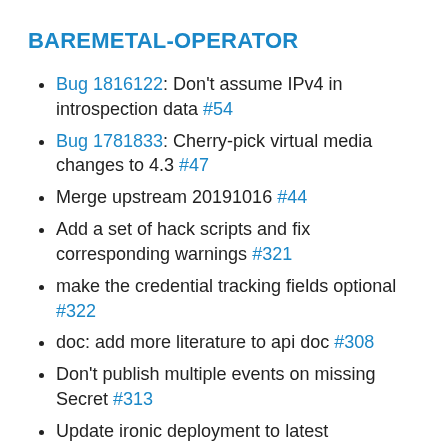BAREMETAL-OPERATOR
Bug 1816122: Don't assume IPv4 in introspection data #54
Bug 1781833: Cherry-pick virtual media changes to 4.3 #47
Merge upstream 20191016 #44
Add a set of hack scripts and fix corresponding warnings #321
make the credential tracking fields optional #322
doc: add more literature to api doc #308
Don't publish multiple events on missing Secret #313
Update ironic deployment to latest requirements #309
Check namespace when matching Secret references #312
Add OWNERS file. #314
Set error message on inspection error #307
Send config drive to Ironic as JSON #310